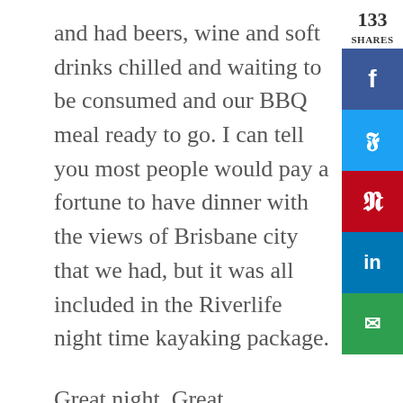and had beers, wine and soft drinks chilled and waiting to be consumed and our BBQ meal ready to go. I can tell you most people would pay a fortune to have dinner with the views of Brisbane city that we had, but it was all included in the Riverlife night time kayaking package.
Great night, Great Experience, Great time had by all!